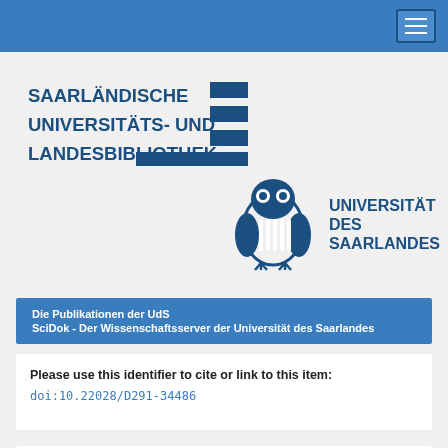Navigation bar with hamburger menu
[Figure (logo): Saarländische Universitäts- und Landesbibliothek logo with text and geometric bar/block design in dark blue]
[Figure (logo): Universität des Saarlandes logo with owl mascot and text in dark blue]
Die Publikationen der UdS
SciDok - Der Wissenschaftsserver der Universität des Saarlandes
Please use this identifier to cite or link to this item:
doi:10.22028/D291-34486